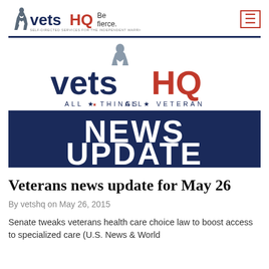vetsHQ Be fierce. SELF-DIRECTED SERVICES FOR THE INDEPENDENT WARRIOR
[Figure (logo): VetsHQ logo large with soldier silhouette, 'vetsHQ ALL THINGS VETERAN' text, and dark navy NEWS UPDATE banner]
Veterans news update for May 26
By vetshq on May 26, 2015
Senate tweaks veterans health care choice law to boost access to specialized care (U.S. News & World